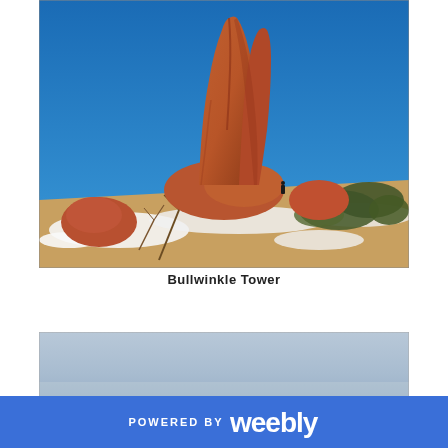[Figure (photo): Photograph of Bullwinkle Tower, a tall red sandstone rock formation rising from a hillside dusted with snow, with scrubby trees and brush in the foreground, against a vivid blue sky.]
Bullwinkle Tower
[Figure (photo): Partially visible photograph showing a pale blue-grey sky, likely another outdoor landscape image, cropped at the bottom of the page.]
POWERED BY weebly